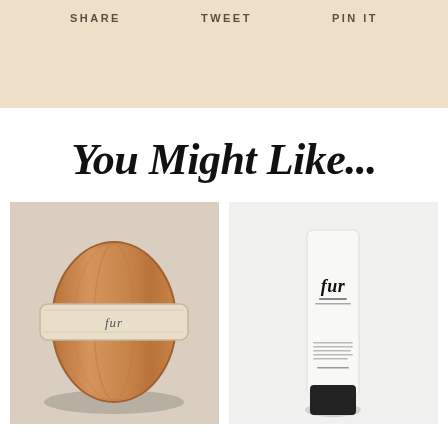SHARE   TWEET   PIN IT
You Might Like...
[Figure (photo): Fur branded wooden dry body brush with cream leather strap on light background]
[Figure (photo): Fur branded white tube product (silk serum or similar) with black cap on white background]